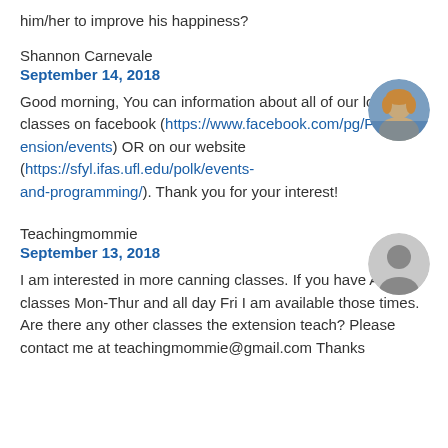him/her to improve his happiness?
Shannon Carnevale
September 14, 2018
Good morning, You can information about all of our local classes on facebook (https://www.facebook.com/pg/PolkExtension/events) OR on our website (https://sfyl.ifas.ufl.edu/polk/events-and-programming/). Thank you for your interest!
Teachingmommie
September 13, 2018
I am interested in more canning classes. If you have AM classes Mon-Thur and all day Fri I am available those times. Are there any other classes the extension teach? Please contact me at teachingmommie@gmail.com Thanks